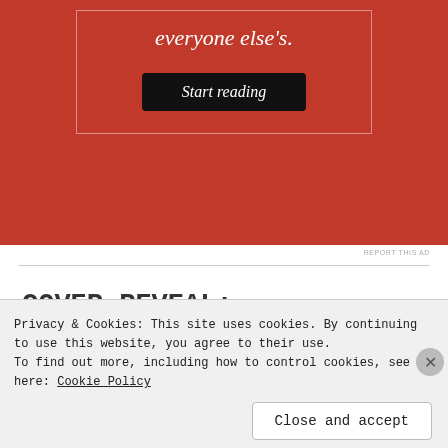[Figure (screenshot): Red advertisement banner with italic serif text 'everyone else's.' and a dark 'Start reading' button, bordered with a thin white rectangle]
REPORT THIS AD
COVER REVEAL: Headlines by Ella Frank
Privacy & Cookies: This site uses cookies. By continuing to use this website, you agree to their use. To find out more, including how to control cookies, see here: Cookie Policy
Close and accept
[Figure (screenshot): Red banner at bottom with white bold text 'email with more privacy.' and a duck logo on the right]